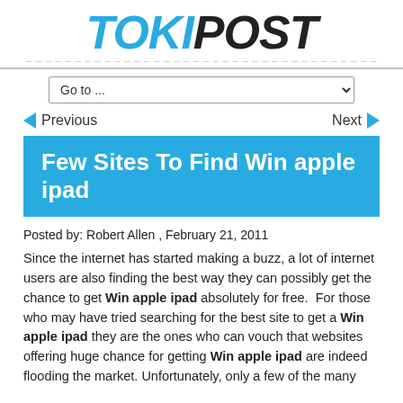[Figure (logo): TokiPost logo with TOKI in blue italic and POST in black italic, bold stylized font]
Go to ...
◄ Previous   Next ►
Few Sites To Find Win apple ipad
Posted by: Robert Allen , February 21, 2011
Since the internet has started making a buzz, a lot of internet users are also finding the best way they can possibly get the chance to get Win apple ipad absolutely for free.  For those who may have tried searching for the best site to get a Win apple ipad they are the ones who can vouch that websites offering huge chance for getting Win apple ipad are indeed flooding the market. Unfortunately, only a few of the many